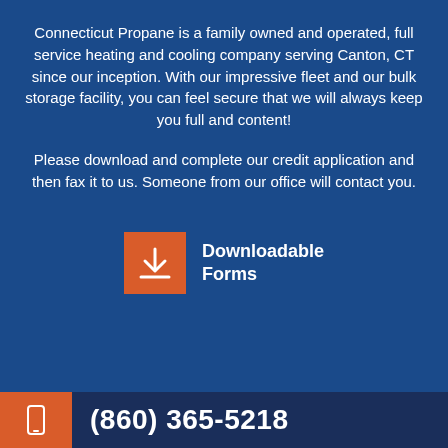Connecticut Propane is a family owned and operated, full service heating and cooling company serving Canton, CT since our inception. With our impressive fleet and our bulk storage facility, you can feel secure that we will always keep you full and content!
Please download and complete our credit application and then fax it to us. Someone from our office will contact you.
[Figure (infographic): Orange square button with a white download arrow icon, beside bold white text reading 'Downloadable Forms']
(860) 365-5218